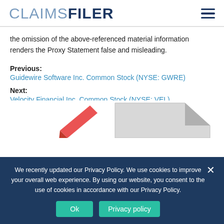CLAIMS FILER
the omission of the above-referenced material information renders the Proxy Statement false and misleading.
Previous:
Guidewire Software Inc. Common Stock (NYSE: GWRE)
Next:
Velocity Financial Inc. Common Stock (NYSE: VEL)
[Figure (illustration): Partial illustration of documents and a pen at the bottom of the page]
We recently updated our Privacy Policy. We use cookies to improve your overall web experience. By using our website, you consent to the use of cookies in accordance with our Privacy Policy.